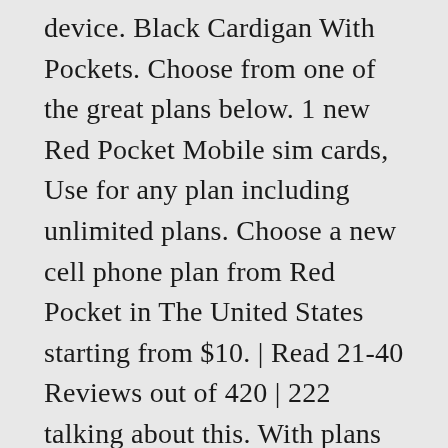device. Black Cardigan With Pockets. Choose from one of the great plans below. 1 new Red Pocket Mobile sim cards, Use for any plan including unlimited plans. Choose a new cell phone plan from Red Pocket in The United States starting from $10. | Read 21-40 Reviews out of 420 | 222 talking about this. With plans starting at $10/month, Red Pocket Mobile is your prepaid wireless leader. 36 reviews of Red Pocket Mobile "After getting an email about my free cell service was going out of business I was on my quest to find the cheapest cell phone service. Red Pocket Manufacturer Red Pocket Mobile Model 0$ credit Part Number 030698030669 Web Browser Included No Color Screen No Batteries Included No